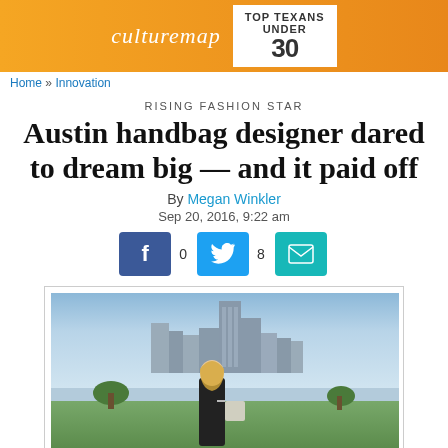[Figure (logo): CultureMap Top Texans Under 30 orange banner header]
Home » Innovation
RISING FASHION STAR
Austin handbag designer dared to dream big — and it paid off
By Megan Winkler
Sep 20, 2016, 9:22 am
[Figure (photo): Woman in black dress standing in front of Austin, Texas skyline, holding a handbag]